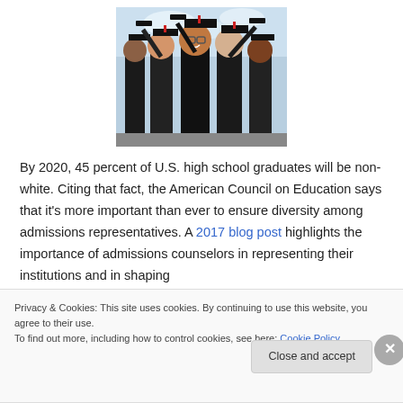[Figure (photo): Group of smiling college graduates in black gowns tossing their caps in the air outdoors]
By 2020, 45 percent of U.S. high school graduates will be non-white. Citing that fact, the American Council on Education says that it’s more important than ever to ensure diversity among admissions representatives. A 2017 blog post highlights the importance of admissions counselors in representing their institutions and in shaping
Privacy & Cookies: This site uses cookies. By continuing to use this website, you agree to their use.
To find out more, including how to control cookies, see here: Cookie Policy
Close and accept